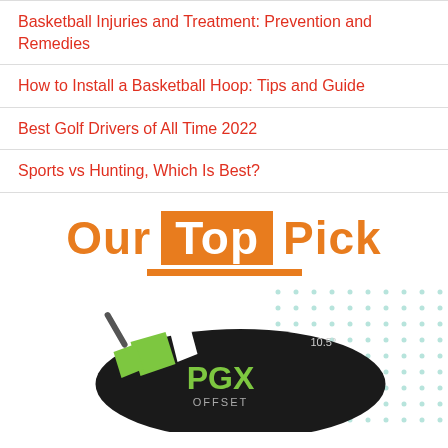Basketball Injuries and Treatment: Prevention and Remedies
How to Install a Basketball Hoop: Tips and Guide
Best Golf Drivers of All Time 2022
Sports vs Hunting, Which Is Best?
[Figure (infographic): Our Top Pick badge with orange box around 'Top', followed by a product image of the PGX Offset golf driver club head on a dotted teal background]